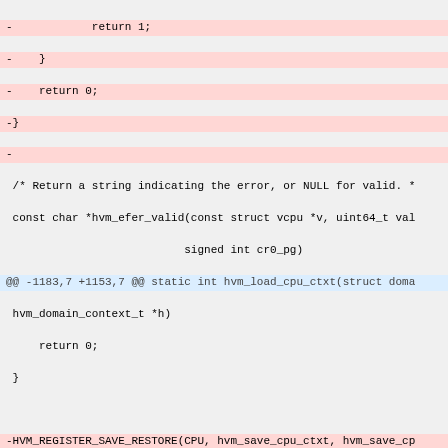Code diff showing changes to hvm_efer_valid, hvm_load_cpu_ctxt, HVM_REGISTER_SAVE_RESTORE, and hvm_save_cpu_xsave_states_one functions
[Figure (other): Source code diff showing removed and added lines in C code for HVM CPU context save/restore functionality]